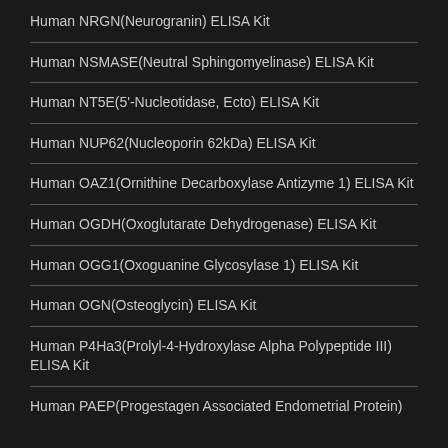Human NRGN(Neurogranin) ELISA Kit
Human NSMASE(Neutral Sphingomyelinase) ELISA Kit
Human NT5E(5'-Nucleotidase, Ecto) ELISA Kit
Human NUP62(Nucleoporin 62kDa) ELISA Kit
Human OAZ1(Ornithine Decarboxylase Antizyme 1) ELISA Kit
Human OGDH(Oxoglutarate Dehydrogenase) ELISA Kit
Human OGG1(Oxoguanine Glycosylase 1) ELISA Kit
Human OGN(Osteoglycin) ELISA Kit
Human P4Ha3(Prolyl-4-Hydroxylase Alpha Polypeptide III) ELISA Kit
Human PAEP(Progestagen Associated Endometrial Protein)